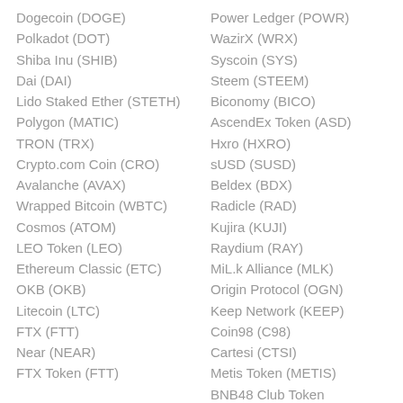Dogecoin (DOGE)
Polkadot (DOT)
Shiba Inu (SHIB)
Dai (DAI)
Lido Staked Ether (STETH)
Polygon (MATIC)
TRON (TRX)
Crypto.com Coin (CRO)
Avalanche (AVAX)
Wrapped Bitcoin (WBTC)
Cosmos (ATOM)
LEO Token (LEO)
Ethereum Classic (ETC)
OKB (OKB)
Litecoin (LTC)
FTX (FTT)
Near (NEAR)
FTX Token (FTT)
Power Ledger (POWR)
WazirX (WRX)
Syscoin (SYS)
Steem (STEEM)
Biconomy (BICO)
AscendEx Token (ASD)
Hxro (HXRO)
sUSD (SUSD)
Beldex (BDX)
Radicle (RAD)
Kujira (KUJI)
Raydium (RAY)
MiL.k Alliance (MLK)
Origin Protocol (OGN)
Keep Network (KEEP)
Coin98 (C98)
Cartesi (CTSI)
Metis Token (METIS)
BNB48 Club Token